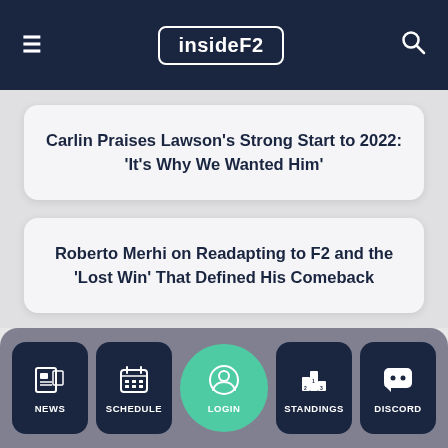insideF2
Carlin Praises Lawson's Strong Start to 2022: 'It's Why We Wanted Him'
Roberto Merhi on Readapting to F2 and the 'Lost Win' That Defined His Comeback
NEWS | SCHEDULE | LOGIN | STANDINGS | DISCORD